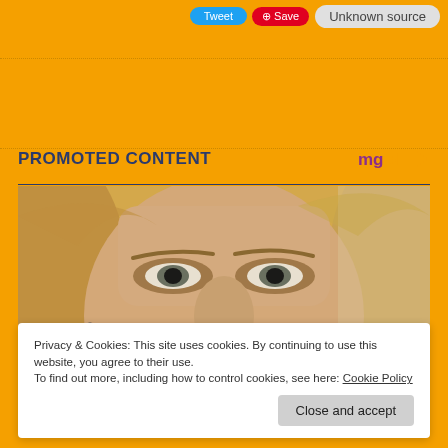[Figure (screenshot): Top bar with Tweet button (blue), Save button (red with Pinterest icon), and 'Unknown source' rounded button on orange background]
PROMOTED CONTENT
[Figure (photo): Close-up photo of a blonde woman's face, showing her eyes and upper face in detail]
Privacy & Cookies: This site uses cookies. By continuing to use this website, you agree to their use.
To find out more, including how to control cookies, see here: Cookie Policy
Close and accept